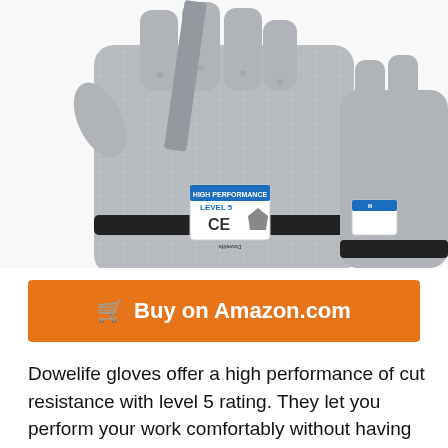[Figure (photo): A pair of grey cut-resistant gloves (Dowelife brand, Level 5 rating) being worn by hands, one hand gripping a grey blade or strip. The gloves have a CE certification label and black wrist band.]
Buy on Amazon.com
Dowelife gloves offer a high performance of cut resistance with level 5 rating. They let you perform your work comfortably without having to worry about getting cuts or hand injuries while carrying out your routines.